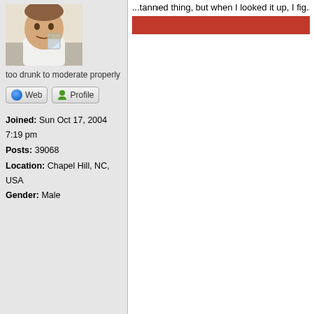[Figure (photo): Avatar photo of a man drinking from a glass]
too drunk to moderate properly
Web   Profile
Joined: Sun Oct 17, 2004 7:19 pm
Posts: 39068
Location: Chapel Hill, NC, USA
Gender: Male
*Though some may think there should be a separation be...
Top
¡B!
Post subject: Re: quick question about "pearl jam live in...
OK, I'm reading the thread, and I think I did...